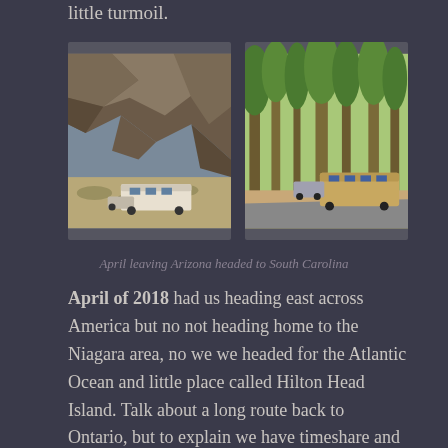little turmoil.
[Figure (photo): RV parked in front of large rocky desert cliff face with scrubby desert vegetation in foreground]
[Figure (photo): RV parked among tall pine trees in a forested campsite with paved road]
April leaving Arizona headed to South Carolina
April of 2018 had us heading east across America but no not heading home to the Niagara area, no we we headed for the Atlantic Ocean and little place called Hilton Head Island. Talk about a long route back to Ontario, but to explain we have timeshare and were planning on spending a week to get Laurie some beach time before